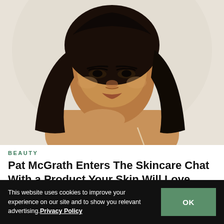[Figure (photo): Portrait of a Black woman with long straight dark hair, touching her neck/collarbone area, wearing a thin strap top, against a light beige/white background. Beauty/skincare editorial photo.]
BEAUTY
Pat McGrath Enters The Skincare Chat With a Product Your Skin Will Love
This website uses cookies to improve your experience on our site and to show you relevant advertising.Privacy Policy